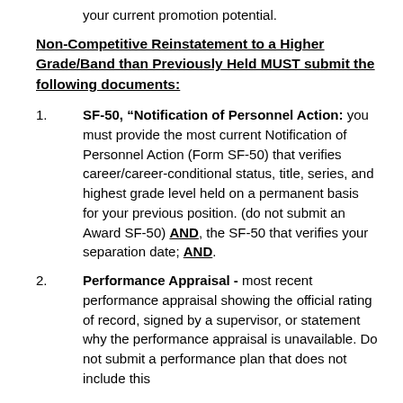your current promotion potential.
Non-Competitive Reinstatement to a Higher Grade/Band than Previously Held MUST submit the following documents:
SF-50, “Notification of Personnel Action:” you must provide the most current Notification of Personnel Action (Form SF-50) that verifies career/career-conditional status, title, series, and highest grade level held on a permanent basis for your previous position. (do not submit an Award SF-50) AND, the SF-50 that verifies your separation date; AND.
Performance Appraisal - most recent performance appraisal showing the official rating of record, signed by a supervisor, or statement why the performance appraisal is unavailable. Do not submit a performance plan that does not include this